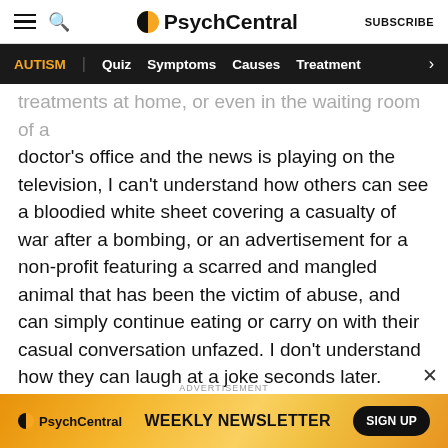PsychCentral | SUBSCRIBE
AUTISM | Quiz | Symptoms | Causes | Treatment
...treatments at home, or even in the waiting room of a doctor's office and the news is playing on the television, I can't understand how others can see a bloodied white sheet covering a casualty of war after a bombing, or an advertisement for a non-profit featuring a scarred and mangled animal that has been the victim of abuse, and can simply continue eating or carry on with their casual conversation unfazed. I don't understand how they can laugh at a joke seconds later.

But, so many times, my focus on something is coming from a different emotional angle, and it doesn't read t
ADVERTISEMENT
[Figure (logo): PsychCentral weekly newsletter advertisement banner with sign up button]